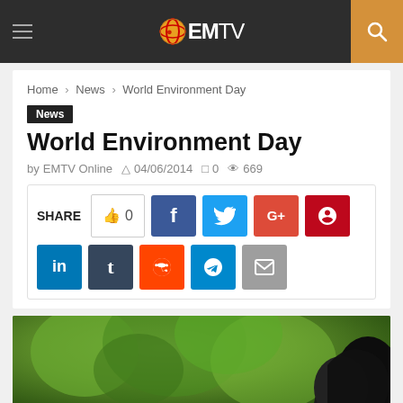EMTV
Home > News > World Environment Day
News
World Environment Day
by EMTV Online  04/06/2014  0  669
[Figure (infographic): Social share buttons: SHARE count 0, Facebook, Twitter, Google+, Pinterest, LinkedIn, Tumblr, Reddit, Telegram, Email]
[Figure (photo): Outdoor photo showing green trees/foliage and black garbage bags on the right side]